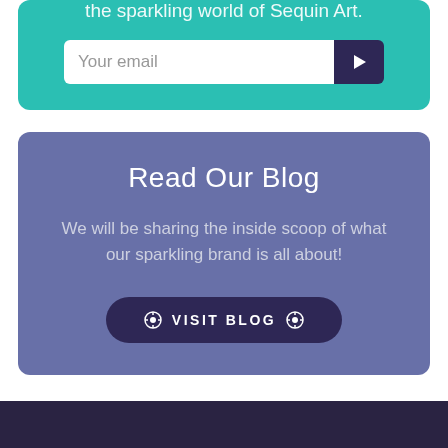the sparkling world of Sequin Art.
[Figure (screenshot): Email subscription input field with white background and dark navy submit button with arrow icon]
Read Our Blog
We will be sharing the inside scoop of what our sparkling brand is all about!
✿ VISIT BLOG ✿
CUSTOMER SERVICE